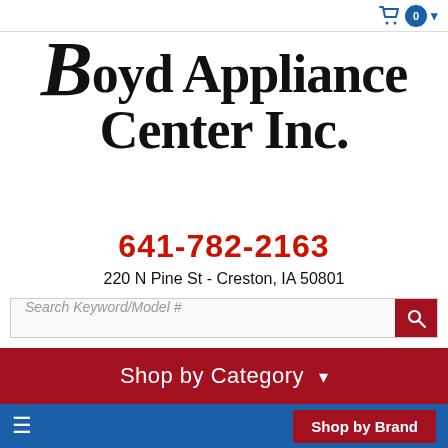[Figure (screenshot): Shopping cart icon with 0 badge and dropdown arrow in blue]
[Figure (logo): Boyd Appliance Center Inc. logo in bold serif black font]
641-782-2163
220 N Pine St - Creston, IA 50801
Search Keyword/Model #
Shop by Category ▾
≡
Shop by Brand